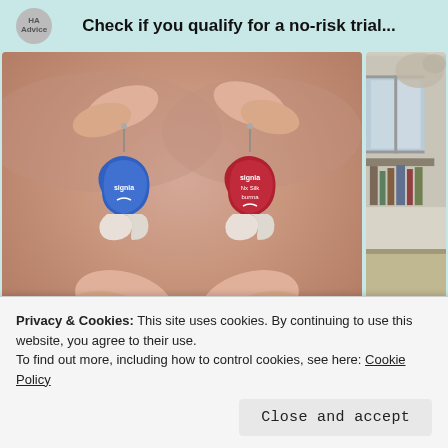[Figure (logo): Circular logo/avatar in top left corner]
Check if you qualify for a no-risk trial...
[Figure (photo): Two hands holding a pair of small Signia hearing aids — one blue and one red — each pinched between thumb and forefinger with white ear domes visible below. Close-up shot against a blurred neutral background.]
[Figure (photo): Partially visible cropped photo at right edge showing an indoor scene with what appears to be a window, bookshelf, and carpet/floor area.]
Privacy & Cookies: This site uses cookies. By continuing to use this website, you agree to their use.
To find out more, including how to control cookies, see here: Cookie Policy
Close and accept